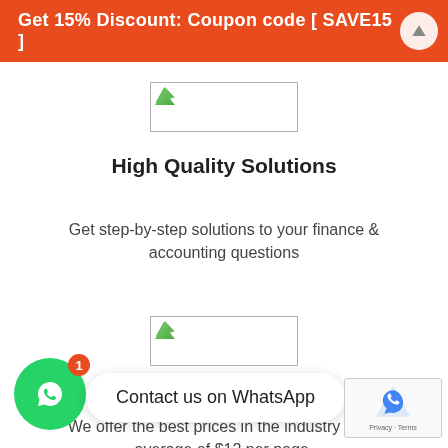Get 15% Discount: Coupon code [ SAVE15 ]
[Figure (illustration): Broken image placeholder (logo area 1)]
High Quality Solutions
Get step-by-step solutions to your finance & accounting questions
[Figure (illustration): Broken image placeholder (logo area 2)]
Competitive Pricing
We offer the best prices in the industry at an average of $12 per page.
Contact us on WhatsApp